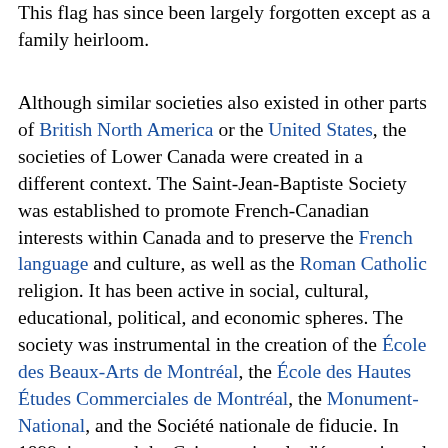This flag has since been largely forgotten except as a family heirloom.
Although similar societies also existed in other parts of British North America or the United States, the societies of Lower Canada were created in a different context. The Saint-Jean-Baptiste Society was established to promote French-Canadian interests within Canada and to preserve the French language and culture, as well as the Roman Catholic religion. It has been active in social, cultural, educational, political, and economic spheres. The society was instrumental in the creation of the École des Beaux-Arts de Montréal, the École des Hautes Études Commerciales de Montréal, the Monument-National, and the Société nationale de fiducie. In 1899, it created the Caisse nationale d'économie and contributed to the Chambre de Commerce de